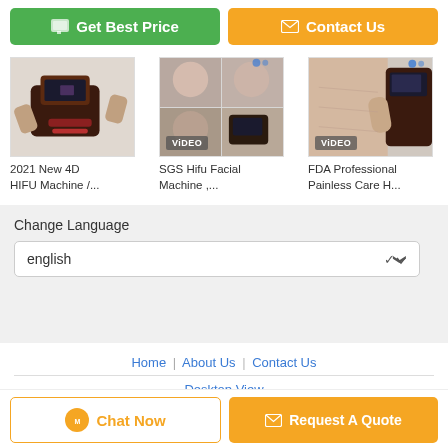[Figure (screenshot): Green 'Get Best Price' button and orange 'Contact Us' button at the top]
[Figure (photo): Product thumbnail: 2021 New 4D HIFU Machine]
2021 New 4D HIFU Machine /...
[Figure (photo): Product thumbnail: SGS Hifu Facial Machine with VIDEO badge]
SGS Hifu Facial Machine ,...
[Figure (photo): Product thumbnail: FDA Professional Painless Care H... with VIDEO badge]
FDA Professional Painless Care H...
Change Language
english
Home | About Us | Contact Us
Desktop View
Copyright © 2012 - 2022 best-laser.com. All rights reserved.
[Figure (screenshot): Bottom bar with 'Chat Now' and 'Request A Quote' buttons]